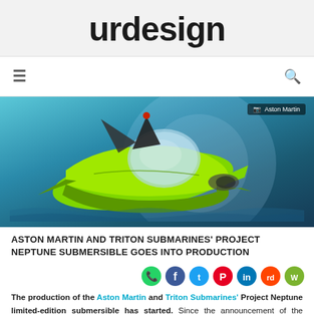urdesign
[Figure (photo): Green Aston Martin and Triton Submarines Project Neptune submersible vehicle, side view, shown underwater with blue background. Photo credit: Aston Martin]
ASTON MARTIN AND TRITON SUBMARINES' PROJECT NEPTUNE SUBMERSIBLE GOES INTO PRODUCTION
The production of the Aston Martin and Triton Submarines' Project Neptune limited-edition submersible has started. Since the announcement of the creative collaboration in September 2017,